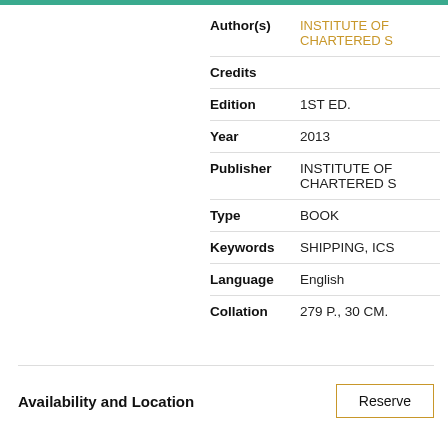| Field | Value |
| --- | --- |
| Author(s) | INSTITUTE OF CHARTERED S |
| Credits |  |
| Edition | 1ST ED. |
| Year | 2013 |
| Publisher | INSTITUTE OF CHARTERED S |
| Type | BOOK |
| Keywords | SHIPPING, ICS |
| Language | English |
| Collation | 279 P., 30 CM. |
Availability and Location
Reserve